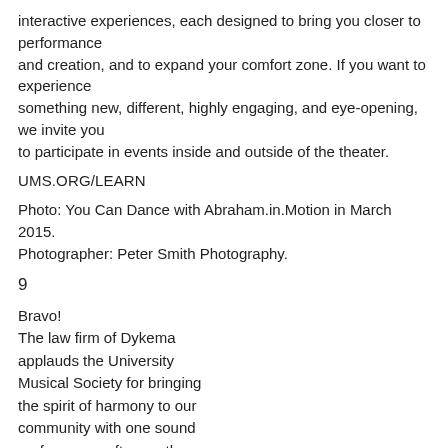interactive experiences, each designed to bring you closer to performance and creation, and to expand your comfort zone. If you want to experience something new, different, highly engaging, and eye-opening, we invite you to participate in events inside and outside of the theater.
UMS.ORG/LEARN
Photo: You Can Dance with Abraham.in.Motion in March 2015. Photographer: Peter Smith Photography.
9
Bravo!
The law firm of Dykema applauds the University Musical Society for bringing the spirit of harmony to our community with one sound performance after another.
See, touch and smell the Green Earth difference.
Non-toxic